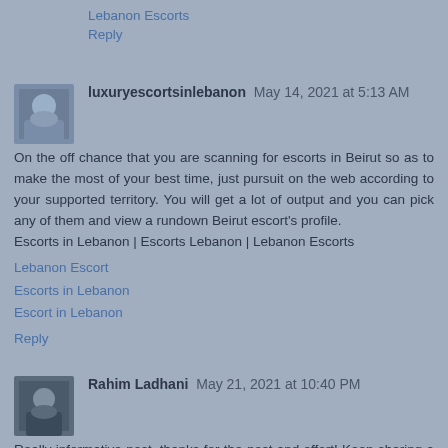Lebanon Escorts
Reply
luxuryescortsinlebanon May 14, 2021 at 5:13 AM
On the off chance that you are scanning for escorts in Beirut so as to make the most of your best time, just pursuit on the web according to your supported territory. You will get a lot of output and you can pick any of them and view a rundown Beirut escort's profile.
Escorts in Lebanon | Escorts Lebanon | Lebanon Escorts
Lebanon Escort
Escorts in Lebanon
Escort in Lebanon
Reply
Rahim Ladhani May 21, 2021 at 10:40 PM
Really informative post, thanks for the post and effort! Keep sharing a lot of posts like this. Do you want to know the